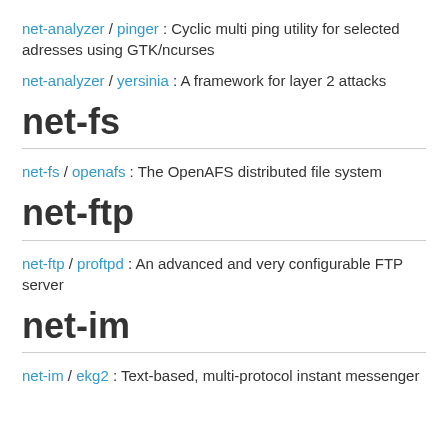net-analyzer / pinger : Cyclic multi ping utility for selected adresses using GTK/ncurses
net-analyzer / yersinia : A framework for layer 2 attacks
net-fs
net-fs / openafs : The OpenAFS distributed file system
net-ftp
net-ftp / proftpd : An advanced and very configurable FTP server
net-im
net-im / ekg2 : Text-based, multi-protocol instant messenger